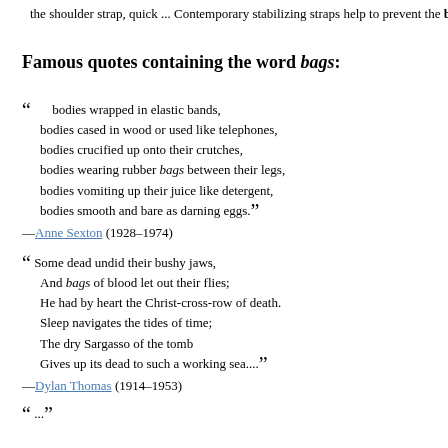the shoulder strap, quick ... Contemporary stabilizing straps help to prevent the bag
Famous quotes containing the word bags:
“ bodies wrapped in elastic bands,
bodies cased in wood or used like telephones,
bodies crucified up onto their crutches,
bodies wearing rubber bags between their legs,
bodies vomiting up their juice like detergent,
bodies smooth and bare as darning eggs.”
—Anne Sexton (1928–1974)
“ Some dead undid their bushy jaws,
And bags of blood let out their flies;
He had by heart the Christ-cross-row of death.
Sleep navigates the tides of time;
The dry Sargasso of the tomb
Gives up its dead to such a working sea....”
—Dylan Thomas (1914–1953)
“ ...